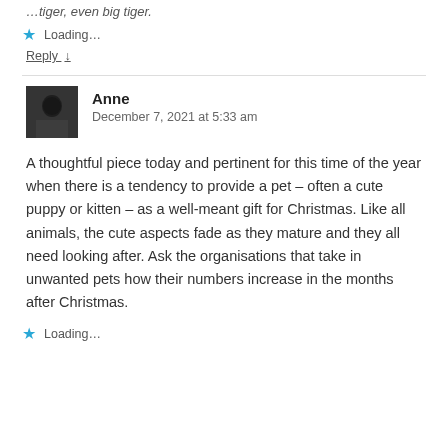…tiger, even big tiger.
Loading...
Reply ↓
Anne
December 7, 2021 at 5:33 am
A thoughtful piece today and pertinent for this time of the year when there is a tendency to provide a pet – often a cute puppy or kitten – as a well-meant gift for Christmas. Like all animals, the cute aspects fade as they mature and they all need looking after. Ask the organisations that take in unwanted pets how their numbers increase in the months after Christmas.
Loading...